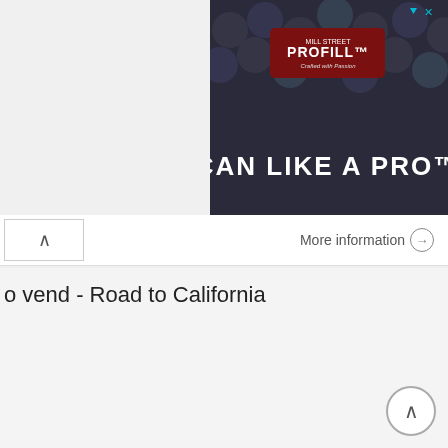[Figure (photo): Advertisement banner for PROFILL 'CAN LIKE A PRO' product, showing beer cans background with brand badge]
More information →
o vend - Road to California
[Figure (photo): Broken image placeholder with text: application to vend - Road to]
More information →
Woods Sleddog Challenge
[Figure (photo): Broken image placeholder with text: Great North Woods Sleddog]